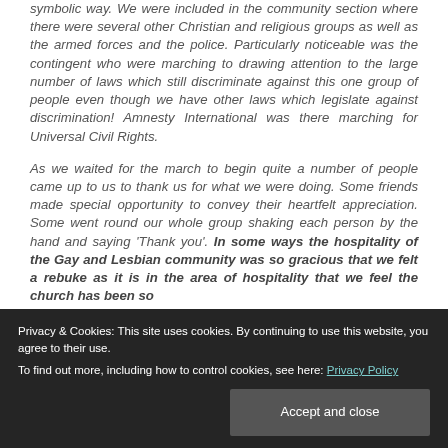symbolic way. We were included in the community section where there were several other Christian and religious groups as well as the armed forces and the police. Particularly noticeable was the contingent who were marching to drawing attention to the large number of laws which still discriminate against this one group of people even though we have other laws which legislate against discrimination! Amnesty International was there marching for Universal Civil Rights.
As we waited for the march to begin quite a number of people came up to us to thank us for what we were doing. Some friends made special opportunity to convey their heartfelt appreciation. Some went round our whole group shaking each person by the hand and saying 'Thank you'. In some ways the hospitality of the Gay and Lesbian community was so gracious that we felt a rebuke as it is in the area of hospitality that we feel the church has been so
Privacy & Cookies: This site uses cookies. By continuing to use this website, you agree to their use.
To find out more, including how to control cookies, see here: Privacy Policy
known the truth of God made known in Jesus who constantly took